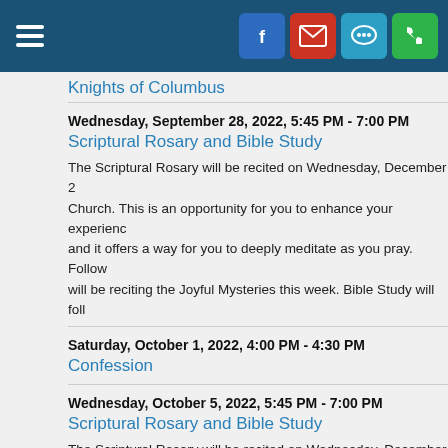Knights of Columbus
Wednesday, September 28, 2022, 5:45 PM - 7:00 PM
Scriptural Rosary and Bible Study
The Scriptural Rosary will be recited on Wednesday, December 2... Church. This is an opportunity for you to enhance your experience... and it offers a way for you to deeply meditate as you pray. Follow... will be reciting the Joyful Mysteries this week. Bible Study will follo...
Saturday, October 1, 2022, 4:00 PM - 4:30 PM
Confession
Wednesday, October 5, 2022, 5:45 PM - 7:00 PM
Scriptural Rosary and Bible Study
The Scriptural Rosary will be recited on Wednesday, December 2... Church. This is an opportunity for you to enhance your experience... and it offers a way for you to deeply meditate as you pray. Follow... will be reciting the Joyful Mysteries this week. Bible Study will follo...